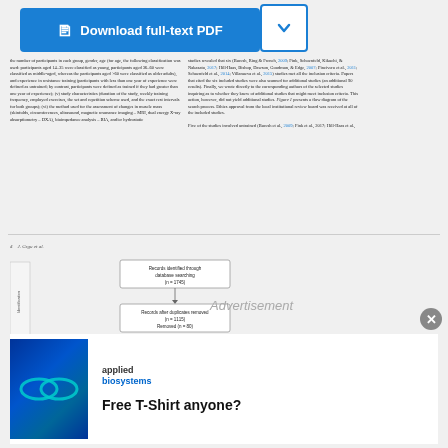[Figure (other): Download full-text PDF button with chevron dropdown]
the number of participants in each group, gender, age (for age, the following classification was used: participants aged 14–35 were classified as young, participants aged 36–60 were classified as middle-aged, whereas the participants aged >60 were classified as older adults), and experience in resistance training (participants with less than one year of experience were defined as untrained; by contrast, participants were defined as trained if they had greater than one year of experience); (v) study characteristics (duration of the study, weekly training frequency, employed exercises, the set and repetition scheme used, and the exact rest intervals for both groups); (vi) the method used for the assessment of changes in muscle mass (skinfolds, circumferences, ultrasound, magnetic resonance imaging – MRI, dual energy X-ray absorptiometry – DXA), bioimpedance analysis – BIA, and/or hydrostatic
studies revealed that six (Buresh, Ring & French, 2009; Fink, Schoenfeld, Kikuchi, & Nakazato, 2017; Hill-Haas, Bishop, Dawson, Goodman, & Edge, 2007; Pincivero et al., 2011; Schoenfeld et al., 2014; Villanueva et al., 2015) studies met all the inclusion criteria. Papers that cited the six included studies were also scanned for additional studies (an additional 90 results). Finally, we wrote directly to the corresponding authors of the selected studies inquiring as to whether they knew of additional studies that might meet inclusion criteria. This action, however, did not yield additional studies. Figure 1 presents a flow diagram of the search process. Ethics approval from the local institutional review board was received at all of the included studies.

Five of the studies involved untrained (Buresh et al., 2009; Fink et al., 2017; Hill-Haas et al.,
[Figure (flowchart): Flow diagram showing search process: 'Records identified through database searching (n = 1745)' leading to 'Records after duplicates removed (n = 1115)' leading to 'Records screened (n = 80)']
Advertisement
[Figure (logo): Applied Biosystems logo with infinity symbol on blue background]
Free T-Shirt anyone?